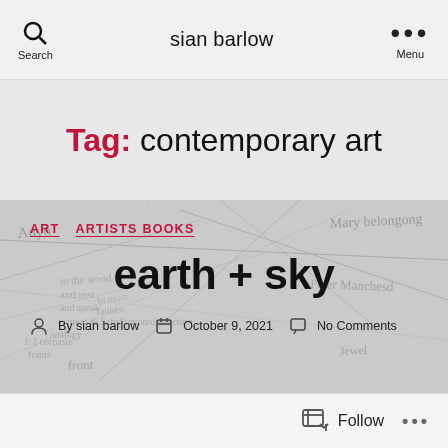Search  sian barlow  Menu
Tag: contemporary art
[Figure (illustration): Faint pencil/pen sketch of handwritten names and connecting lines, resembling a mind map or planning diagram on a grey background]
ART  ARTISTS BOOKS
earth + sky
By sian barlow  October 9, 2021  No Comments
Follow  ...